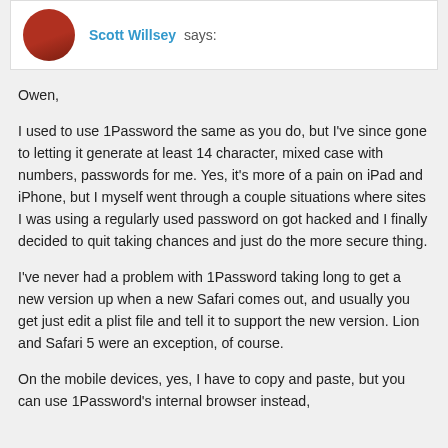Scott Willsey says:
Owen,
I used to use 1Password the same as you do, but I've since gone to letting it generate at least 14 character, mixed case with numbers, passwords for me. Yes, it's more of a pain on iPad and iPhone, but I myself went through a couple situations where sites I was using a regularly used password on got hacked and I finally decided to quit taking chances and just do the more secure thing.
I've never had a problem with 1Password taking long to get a new version up when a new Safari comes out, and usually you get just edit a plist file and tell it to support the new version. Lion and Safari 5 were an exception, of course.
On the mobile devices, yes, I have to copy and paste, but you can use 1Password's internal browser instead,